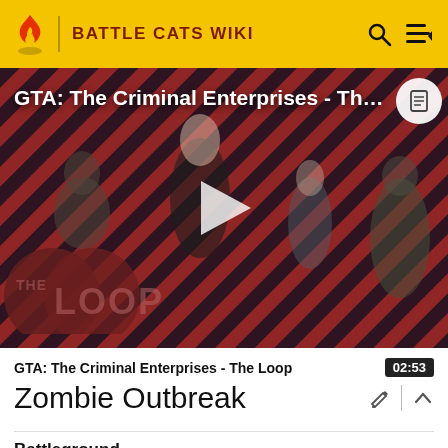BATTLE CATS WIKI
[Figure (screenshot): GTA: The Criminal Enterprises - The Loop video thumbnail with play button, characters standing on red striped background, The Loop logo overlay]
GTA: The Criminal Enterprises - The Loop  02:53
Zombie Outbreak
Battleground
Chapter 1